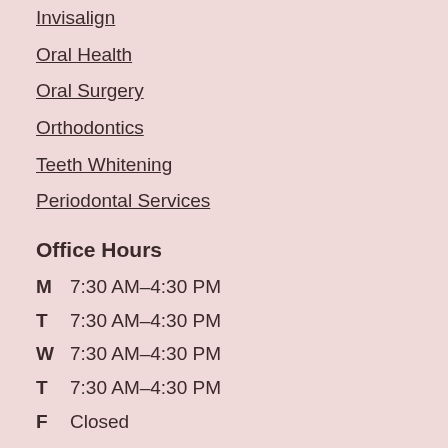Invisalign
Oral Health
Oral Surgery
Orthodontics
Teeth Whitening
Periodontal Services
Office Hours
M  7:30 AM–4:30 PM
T  7:30 AM–4:30 PM
W  7:30 AM–4:30 PM
T  7:30 AM–4:30 PM
F  Closed
Advanced Dentistry at Windhaven
5073 West Parker Rd